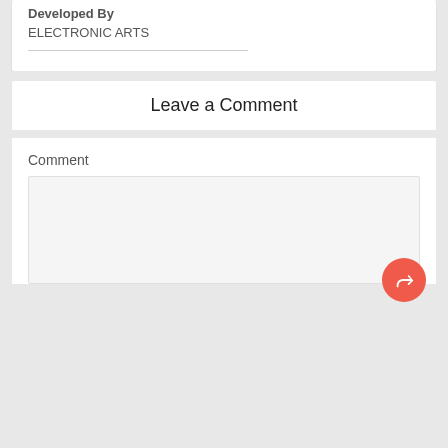Developed By
ELECTRONIC ARTS
Leave a Comment
Comment